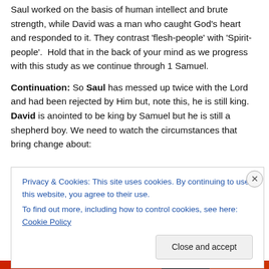Saul worked on the basis of human intellect and brute strength, while David was a man who caught God's heart and responded to it. They contrast 'flesh-people' with 'Spirit-people'.  Hold that in the back of your mind as we progress with this study as we continue through 1 Samuel.
Continuation: So Saul has messed up twice with the Lord and had been rejected by Him but, note this, he is still king. David is anointed to be king by Samuel but he is still a shepherd boy. We need to watch the circumstances that bring change about:
Privacy & Cookies: This site uses cookies. By continuing to use this website, you agree to their use.
To find out more, including how to control cookies, see here: Cookie Policy